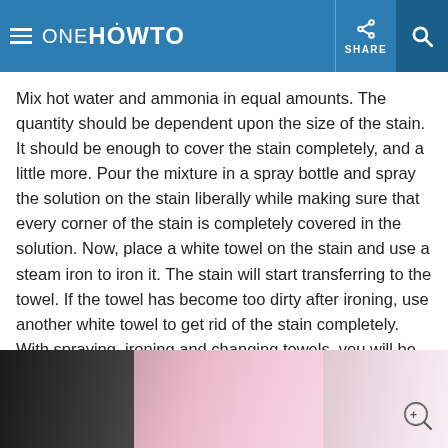oneHOWTO | SHARE
Mix hot water and ammonia in equal amounts. The quantity should be dependent upon the size of the stain. It should be enough to cover the stain completely, and a little more. Pour the mixture in a spray bottle and spray the solution on the stain liberally while making sure that every corner of the stain is completely covered in the solution. Now, place a white towel on the stain and use a steam iron to iron it. The stain will start transferring to the towel. If the towel has become too dirty after ironing, use another white towel to get rid of the stain completely. With spraying, ironing and changing towels, you will be able to get rid of the stain soon.
[Figure (photo): Partial photo showing pink rubber gloves being used for cleaning, visible at bottom of page]